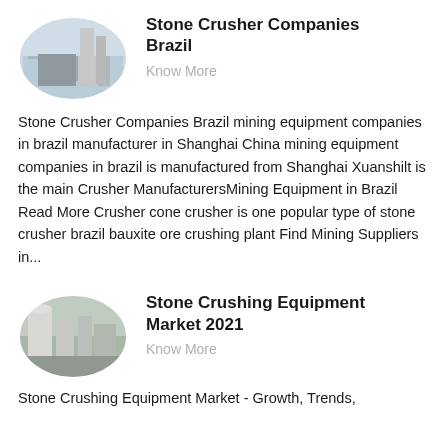[Figure (photo): Oval-shaped photo of industrial stone crusher equipment facility with silos and machinery]
Stone Crusher Companies Brazil
Know More
Stone Crusher Companies Brazil mining equipment companies in brazil manufacturer in Shanghai China mining equipment companies in brazil is manufactured from Shanghai Xuanshilt is the main Crusher ManufacturersMining Equipment in Brazil Read More Crusher cone crusher is one popular type of stone crusher brazil bauxite ore crushing plant Find Mining Suppliers in...
[Figure (photo): Oval-shaped photo of stone crushing equipment facility with industrial machinery]
Stone Crushing Equipment Market 2021
Know More
Stone Crushing Equipment Market - Growth, Trends,